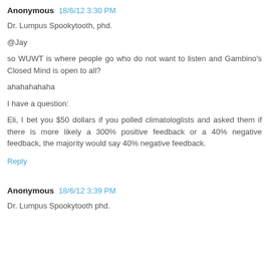Anonymous 18/6/12 3:30 PM
Dr. Lumpus Spookytooth, phd.
@Jay
so WUWT is where people go who do not want to listen and Gambino's Closed Mind is open to all?
ahahahahaha
I have a question:
Eli, I bet you $50 dollars if you polled climatologlists and asked them if there is more likely a 300% positive feedback or a 40% negative feedback, the majority would say 40% negative feedback.
Reply
Anonymous 18/6/12 3:39 PM
Dr. Lumpus Spookytooth phd.